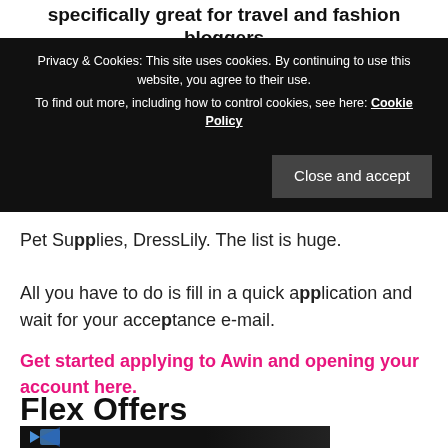specifically great for travel and fashion bloggers
Privacy & Cookies: This site uses cookies. By continuing to use this website, you agree to their use.
To find out more, including how to control cookies, see here: Cookie Policy
Close and accept
Pet Supplies, DressLily. The list is huge.
All you have to do is fill in a quick application and wait for your acceptance e-mail.
Get started applying to Awin and opening your account here.
Flex Offers
[Figure (screenshot): Dark screenshot thumbnail with a blue arrow/envelope icon on the left side]